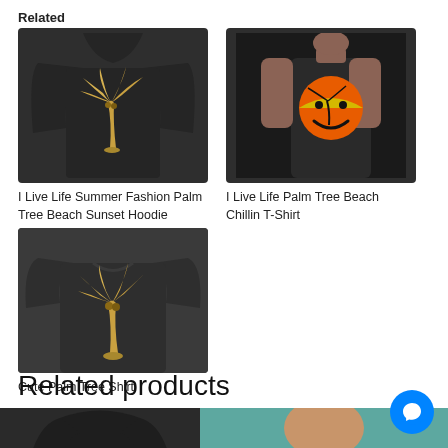Related
[Figure (photo): Dark hoodie with gold palm tree print on chest]
I Live Life Summer Fashion Palm Tree Beach Sunset Hoodie
[Figure (photo): Model wearing dark t-shirt with sunset/smiley face beach graphic]
I Live Life Palm Tree Beach Chillin T-Shirt
[Figure (photo): Dark t-shirt with gold palm tree print]
Cute Palm Tree Shirt
Related products
[Figure (photo): Dark shirt product thumbnail bottom left]
[Figure (photo): Woman wearing product, bottom right thumbnail]